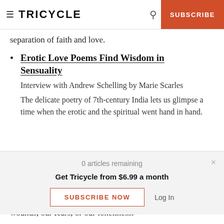≡ TRICYCLE | SUBSCRIBE
separation of faith and love.
Erotic Love Poems Find Wisdom in Sensuality
Interview with Andrew Schelling by Marie Scarles
The delicate poetry of 7th-century India lets us glimpse a time when the erotic and the spiritual went hand in hand.
0 articles remaining
Get Tricycle from $6.99 a month
SUBSCRIBE NOW   Log In
wounds, our fears, or our loneliness.